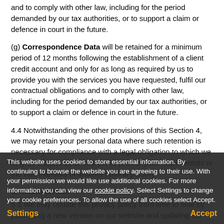and to comply with other law, including for the period demanded by our tax authorities, or to support a claim or defence in court in the future.
(g) Correspondence Data will be retained for a minimum period of 12 months following the establishment of a client credit account and only for as long as required by us to provide you with the services you have requested, fulfil our contractual obligations and to comply with other law, including for the period demanded by our tax authorities, or to support a claim or defence in court in the future.
4.4 Notwithstanding the other provisions of this Section 4, we may retain your personal data where such retention is necessary for compliance with a legal obligation to which we may be subject to, or in order to protect your vital interests or the vital interests of another natural person.
5. Amendments
5.1 We may update this privacy policy from time to time by publishing a new version on our website and updating our terms and conditions.
This website uses cookies to store essential information. By continuing to browse the website you are agreeing to their use. With your permission we would like use additional cookies. For more information you can view our cookie policy. Select Settings to change your cookie preferences. To allow the use of all cookies select Accept.